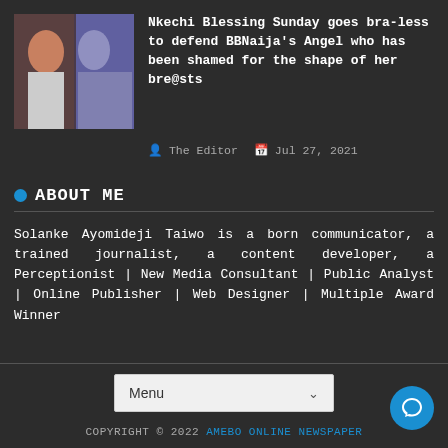[Figure (photo): Thumbnail image of two women, one with red/orange hair]
Nkechi Blessing Sunday goes bra-less to defend BBNaija's Angel who has been shamed for the shape of her bre@sts
The Editor  Jul 27, 2021
ABOUT ME
Solanke Ayomideji Taiwo is a born communicator, a trained journalist, a content developer, a Perceptionist | New Media Consultant | Public Analyst | Online Publisher | Web Designer | Multiple Award Winner
Menu
COPYRIGHT © 2022 AMEBO ONLINE NEWSPAPER